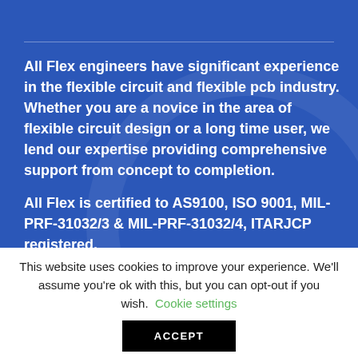All Flex engineers have significant experience in the flexible circuit and flexible pcb industry. Whether you are a novice in the area of flexible circuit design or a long time user, we lend our expertise providing comprehensive support from concept to completion.
All Flex is certified to AS9100, ISO 9001, MIL-PRF-31032/3 & MIL-PRF-31032/4, ITARJCP registered,
This website uses cookies to improve your experience. We'll assume you're ok with this, but you can opt-out if you wish. Cookie settings
ACCEPT